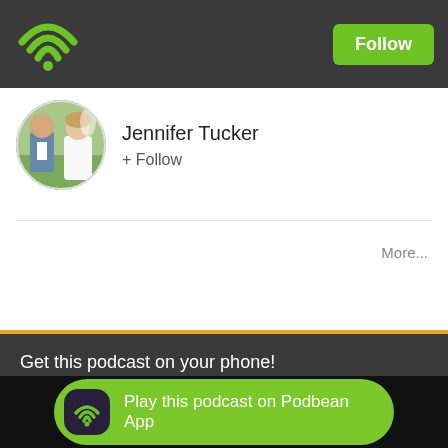Podbean app header with WiFi/podcast icon and Follow button
[Figure (screenshot): Profile of Jennifer Tucker with circular photo of couple at wedding]
Jennifer Tucker
+ Follow
More...
Get this podcast on your phone!
[Figure (screenshot): Download on the App Store button]
[Figure (screenshot): Get it on Google Play button]
Play this podcast on Podbean App